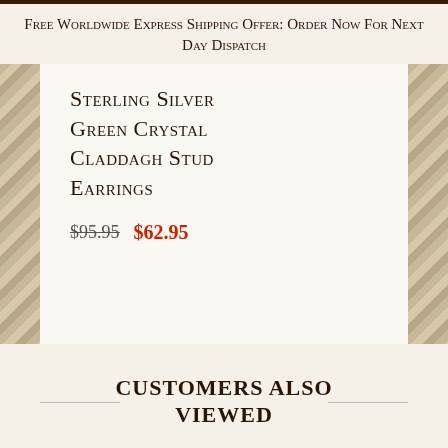Free Worldwide Express Shipping Offer: Order Now For Next Day Dispatch
Sterling Silver Green Crystal Claddagh Stud Earrings
$95.95  $62.95
Customers Also Viewed
Choose options ∨
ADD TO CART